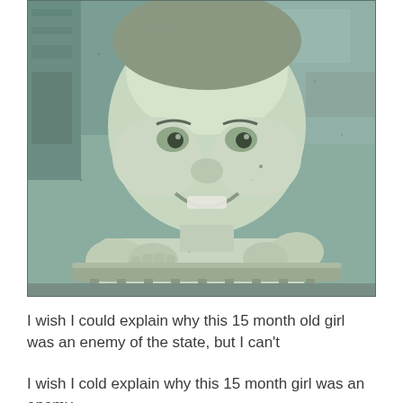[Figure (photo): Black and white vintage photograph of a smiling baby/toddler (approximately 15 months old girl) leaning on what appears to be a crib or playpen rail, wearing a light-colored top.]
I wish I could explain why this 15 month old girl was an enemy of the state, but I can't
I wish I cold explain why this 15 month girl was an enemy...